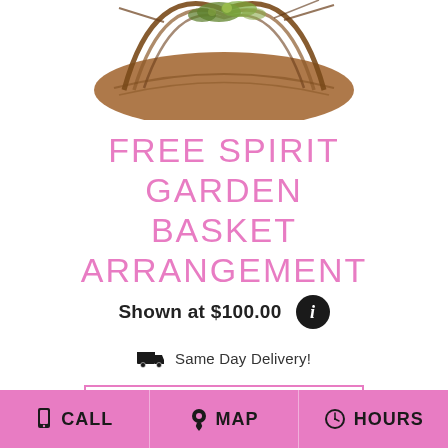[Figure (photo): Partial top view of a rustic garden basket arrangement with twigs and greenery, cropped at top of page]
FREE SPIRIT GARDEN BASKET ARRANGEMENT
Shown at $100.00
Same Day Delivery!
BUY NOW
CALL  MAP  HOURS